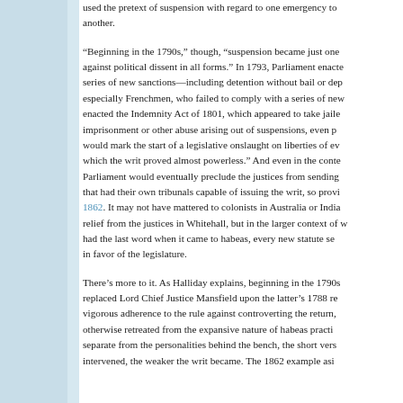used the pretext of suspension with regard to one emergency to another.
“Beginning in the 1790s,” though, “suspension became just one against political dissent in all forms.” In 1793, Parliament enacte series of new sanctions—including detention without bail or dep especially Frenchmen, who failed to comply with a series of new enacted the Indemnity Act of 1801, which appeared to take jaile imprisonment or other abuse arising out of suspensions, even p would mark the start of a legislative onslaught on liberties of ev which the writ proved almost powerless.” And even in the conte Parliament would eventually preclude the justices from sending that had their own tribunals capable of issuing the writ, so provi 1862. It may not have mattered to colonists in Australia or India relief from the justices in Whitehall, but in the larger context of w had the last word when it came to habeas, every new statute se in favor of the legislature.
There’s more to it. As Halliday explains, beginning in the 1790s replaced Lord Chief Justice Mansfield upon the latter’s 1788 re vigorous adherence to the rule against controverting the return, otherwise retreated from the expansive nature of habeas practi separate from the personalities behind the bench, the short vers intervened, the weaker the writ became. The 1862 example asi